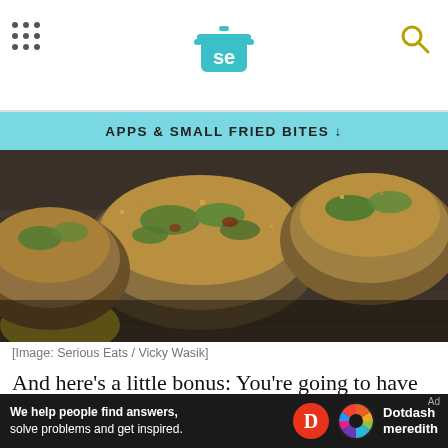Serious Eats header with logo and navigation grid
APPS & SMALL FRIED BITES ↓
[Figure (photo): Close-up photo of stuffed clams with breadcrumb and herb topping on a dark wooden surface]
[Image: Serious Eats / Vicky Wasik]
And here's a little bonus: You're going to have extra clam butter left over. Save it! Then, one day soon when you're really hungry and tired and stressed
[Figure (logo): Dotdash Meredith advertisement bar at bottom]